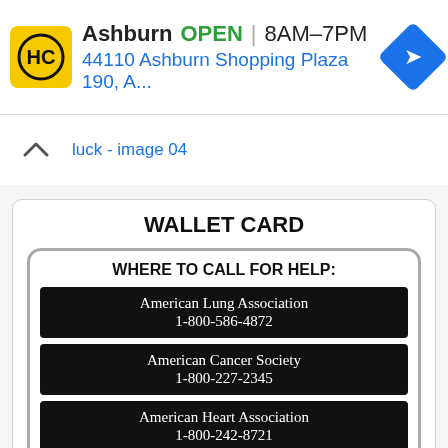[Figure (infographic): Ad bar: HC logo (yellow square with HC), Ashburn OPEN 8AM-7PM, address 44110 Ashburn Shopping Plaza 190, A..., blue navigation diamond icon]
luck - image 04
WALLET CARD
WHERE TO CALL FOR HELP:
American Lung Association
1-800-586-4872
American Cancer Society
1-800-227-2345
American Heart Association
1-800-242-8721
wallet - image 05